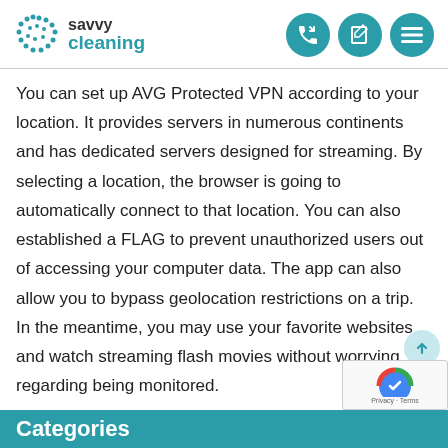savvy cleaning
You can set up AVG Protected VPN according to your location. It provides servers in numerous continents and has dedicated servers designed for streaming. By selecting a location, the browser is going to automatically connect to that location. You can also established a FLAG to prevent unauthorized users out of accessing your computer data. The app can also allow you to bypass geolocation restrictions on a trip. In the meantime, you may use your favorite websites and watch streaming flash movies without worrying regarding being monitored.
Categories